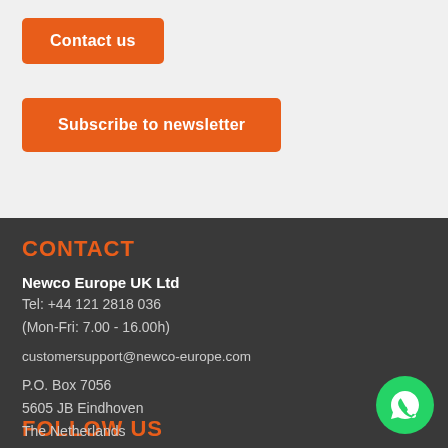Contact us
Subscribe to newsletter
CONTACT
Newco Europe UK Ltd
Tel: +44 121 2818 036
(Mon-Fri: 7.00 - 16.00h)

customersupport@newco-europe.com

P.O. Box 7056
5605 JB Eindhoven
The Netherlands
FOLLOW US